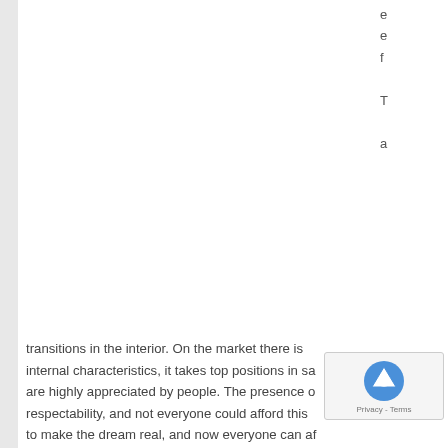e
e
f
T
a
transitions in the interior. On the market there is internal characteristics, it takes top positions in sa are highly appreciated by people. The presence of respectability, and not everyone could afford this to make the dream real, and now everyone can at type of floor covering visually expands any room.
Wide wood flooring has a range of advantages in known by its high solidity. From the top it is co additional processing after installation. Such fl temperature. You can cover the floor w natural material, what means it is heal